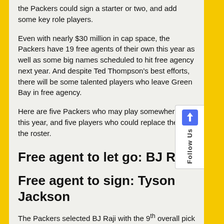the Packers could sign a starter or two, and add some key role players.
Even with nearly $30 million in cap space, the Packers have 19 free agents of their own this year as well as some big names scheduled to hit free agency next year. And despite Ted Thompson's best efforts, there will be some talented players who leave Green Bay in free agency.
Here are five Packers who may play somewhere else this year, and five players who could replace them on the roster.
Free agent to let go: BJ Raji
Free agent to sign: Tyson Jackson
The Packers selected BJ Raji with the 9th overall pick